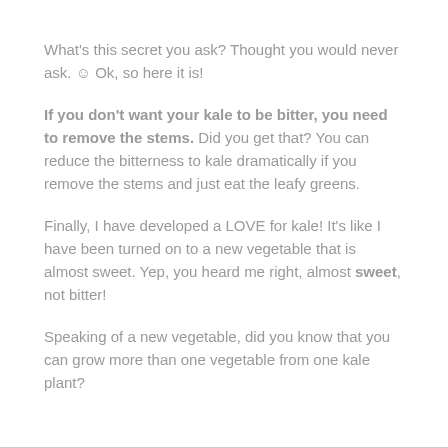What's this secret you ask?  Thought you would never ask. ☺  Ok, so here it is!
If you don't want your kale to be bitter, you need to remove the stems.  Did you get that?  You can reduce the bitterness to kale dramatically if you remove the stems and just eat the leafy greens.
Finally, I have developed a LOVE for kale!  It's like I have been turned on to a new vegetable that is almost sweet.  Yep, you heard me right, almost sweet, not bitter!
Speaking of a new vegetable, did you know that you can grow more than one vegetable from one kale plant?